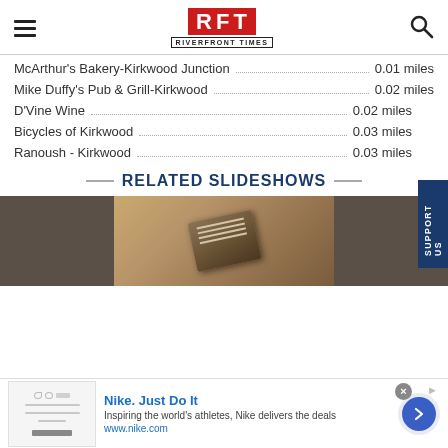RFT RIVERFRONT TIMES
McArthur's Bakery-Kirkwood Junction ... 0.01 miles
Mike Duffy's Pub & Grill-Kirkwood ... 0.02 miles
D'Vine Wine ... 0.02 miles
Bicycles of Kirkwood ... 0.03 miles
Ranoush - Kirkwood ... 0.03 miles
RELATED SLIDESHOWS
[Figure (photo): Slideshow thumbnail image showing a book or wallet on a textured brown/tan surface]
Nike. Just Do It
Inspiring the world's athletes, Nike delivers the deals
www.nike.com